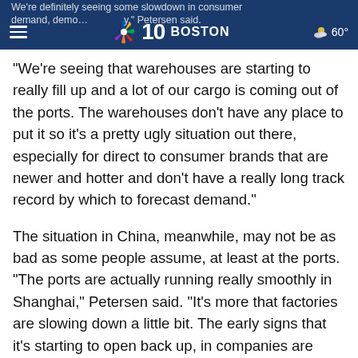NBC 10 Boston – We're definitely seeing some slowdown in consumer demand… Petersen said. 60°
"We're seeing that warehouses are starting to really fill up and a lot of our cargo is coming out of the ports. The warehouses don't have any place to put it so it's a pretty ugly situation out there, especially for direct to consumer brands that are newer and hotter and don't have a really long track record by which to forecast demand."
The situation in China, meanwhile, may not be as bad as some people assume, at least at the ports. "The ports are actually running really smoothly in Shanghai," Petersen said. "It's more that factories are slowing down a little bit. The early signs that it's starting to open back up, in companies are ramping back towards production, it's a little bit to early to say exactly what that bubble will look like, the bubble in sense of all of these orders that have been placed as those